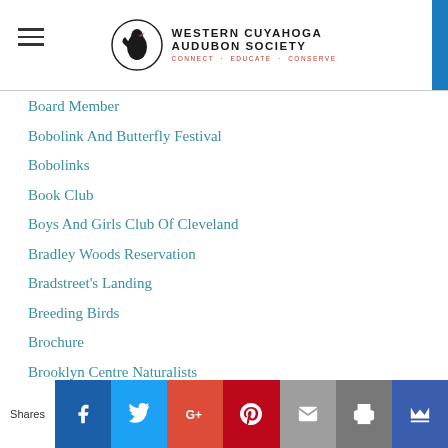Western Cuyahoga Audubon Society – Connect · Educate · Conserve
Board Member
Bobolink And Butterfly Festival
Bobolinks
Book Club
Boys And Girls Club Of Cleveland
Bradley Woods Reservation
Bradstreet's Landing
Breeding Birds
Brochure
Brooklyn Centre Naturalists
Brookside Reservation
Bumble Bees
Burke Lakefront Airport
Byers Woods
Cahoon Memorial Park
Shares | Facebook | Twitter | Google+ | Pinterest | Email | Print | Crown